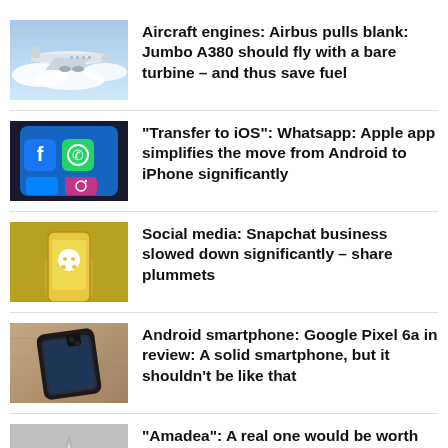Aircraft engines: Airbus pulls blank: Jumbo A380 should fly with a bare turbine – and thus save fuel
"Transfer to iOS": Whatsapp: Apple app simplifies the move from Android to iPhone significantly
Social media: Snapchat business slowed down significantly – share plummets
Android smartphone: Google Pixel 6a in review: A solid smartphone, but it shouldn't be like that
"Amadea": A real one would be worth millions: investigators find a Fabergé